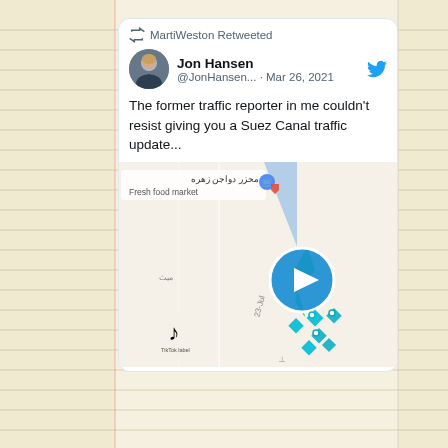[Figure (screenshot): A Twitter/social media post screenshot. MartiWeston Retweeted a tweet by Jon Hansen (@JonHansen...) dated Mar 26, 2021 saying 'The former traffic reporter in me couldn't resist giving you a Suez Canal traffic update...' with an embedded map image showing the Suez Canal with a green ship marker, play button overlay, and traffic diamond icons on a Google Maps style view.]